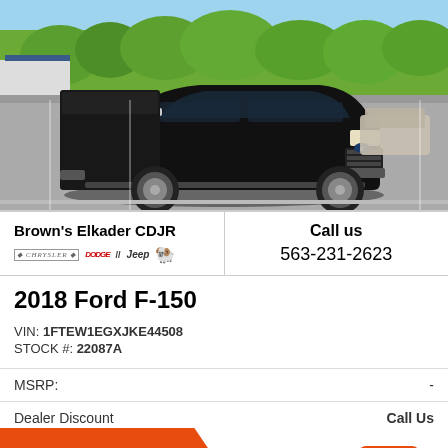[Figure (photo): Photo of a black 2018 Ford F-150 pickup truck with a camper shell, parked in a dealer lot, trees and other vehicles visible in the background.]
Brown's Elkader CDJR
Call us 563-231-2623
2018 Ford F-150
VIN: 1FTEW1EGXJKE44508
STOCK #: 22087A
MSRP: -
Dealer Discount  Call Us
CLICK HERE  $[price]0  Top